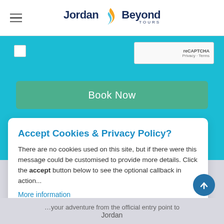Jordan Beyond Tours
[Figure (screenshot): reCAPTCHA widget with checkbox and Privacy/Terms links]
[Figure (screenshot): Green 'Book Now' button]
Accept Cookies & Privacy Policy?
There are no cookies used on this site, but if there were this message could be customised to provide more details. Click the accept button below to see the optional callback in action...
More information
[Figure (screenshot): Accept Cookies and Customise Cookies buttons]
Jordan